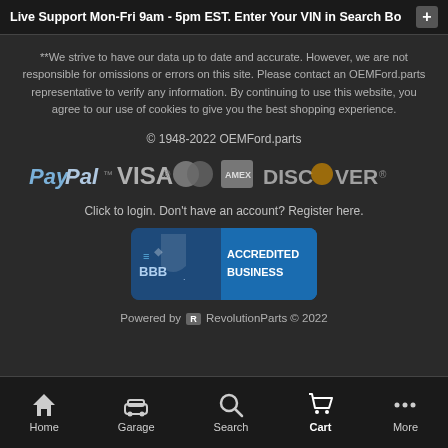Live Support Mon-Fri 9am - 5pm EST. Enter Your VIN in Search Bo
**We strive to have our data up to date and accurate. However, we are not responsible for omissions or errors on this site. Please contact an OEMFord.parts representative to verify any information. By continuing to use this website, you agree to our use of cookies to give you the best shopping experience.
© 1948-2022 OEMFord.parts
[Figure (logo): Payment icons: PayPal, VISA, Mastercard, American Express, DISCOVER]
Click to login. Don't have an account? Register here.
[Figure (logo): BBB Accredited Business badge]
Powered by R RevolutionParts © 2022
Home | Garage | Search | Cart | More